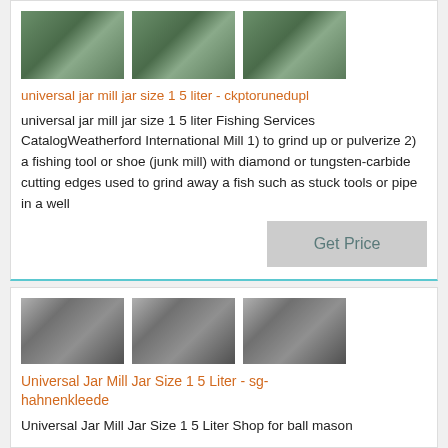[Figure (photo): Three thumbnail images of outdoor/nature scene (top card)]
universal jar mill jar size 1 5 liter - ckptorunedupl
universal jar mill jar size 1 5 liter Fishing Services CatalogWeatherford International Mill 1) to grind up or pulverize 2) a fishing tool or shoe (junk mill) with diamond or tungsten-carbide cutting edges used to grind away a fish such as stuck tools or pipe in a well
[Figure (other): Get Price button]
[Figure (photo): Three thumbnail images of industrial/factory scene (bottom card)]
Universal Jar Mill Jar Size 1 5 Liter - sg-hahnenkleede
Universal Jar Mill Jar Size 1 5 Liter Shop for ball mason